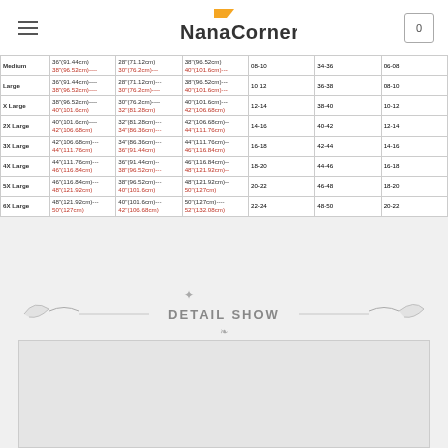[Figure (logo): NanaCorner logo with orange flag/triangle and text, SHOP ONLINE subtitle]
| Size | Bust | Waist | Hip | US Size | UK Size | EU Size |
| --- | --- | --- | --- | --- | --- | --- |
| Medium | 36"(91.44cm)
38"(96.52cm)---- | 28"(71.12cm)
30"(76.2cm)--- | 38"(96.52cm)
40"(101.6cm)--- | 08-10 | 34-36 | 06-08 |
| Large | 36"(91.44cm)----
38"(96.52cm)---- | 28"(71.12cm)---
30"(76.2cm)---- | 38"(96.52cm)---
40"(101.6cm)--- | 10 12 | 36-38 | 08-10 |
| X Large | 38"(96.52cm)----
40"(101.6cm) | 30"(76.2cm)----
32"(81.28cm) | 40"(101.6cm)---
42"(106.68cm) | 12-14 | 38-40 | 10-12 |
| 2X Large | 40"(101.6cm)----
42"(106.68cm) | 32"(81.28cm)---
34"(86.36cm)--- | 42"(106.68cm)--
44"(111.76cm) | 14-16 | 40-42 | 12-14 |
| 3X Large | 42"(106.68cm)---
44"(111.76cm) | 34"(86.36cm)---
36"(91.44cm) | 44"(111.76cm)--
46"(116.84cm) | 16-18 | 42-44 | 14-16 |
| 4X Large | 44"(111.76cm)---
46"(116.84cm) | 36"(91.44cm)--
38"(96.52cm)--- | 46"(116.84cm)--
48"(121.92cm)-- | 18-20 | 44-46 | 16-18 |
| 5X Large | 46"(116.84cm)---
48"(121.92cm) | 38"(96.52cm)---
40"(101.6cm) | 48"(121.92cm)--
50"(127cm) | 20-22 | 46-48 | 18-20 |
| 6X Large | 48"(121.92cm)---
50"(127cm) | 40"(101.6cm)---
42"(106.68cm) | 50"(127cm)----
52"(132.08cm) | 22-24 | 48-50 | 20-22 |
[Figure (illustration): DETAIL SHOW decorative banner with ornamental flourishes]
[Figure (photo): Product detail image placeholder, light gray background]